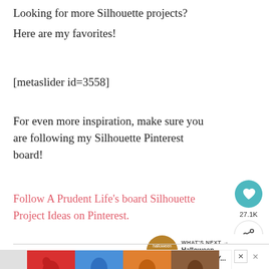Looking for more Silhouette projects? Here are my favorites!
[metaslider id=3558]
For even more inspiration, make sure you are following my Silhouette Pinterest board!
Follow A Prudent Life's board Silhouette Project Ideas on Pinterest.
[Figure (infographic): Pinterest social widget with heart/save button showing 27.1K saves and a share button]
[Figure (infographic): What's Next promo box with thumbnail and text: Halloween Hayride {DIY...]
[Figure (infographic): Advertisement banner showing hands washing with text: Wash Your Hands Often]